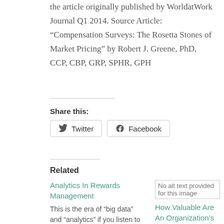the article originally published by WorldatWork Journal Q1 2014. Source Article: “Compensation Surveys: The Rosetta Stones of Market Pricing” by Robert J. Greene, PhD, CCP, CBP, GRP, SPHR, GPH
Share this:
[Figure (other): Twitter and Facebook share buttons]
Related
Analytics In Rewards Management
This is the era of “big data” and “analytics” if you listen to the pop literature. And to some
[Figure (other): Broken image placeholder: No alt text provided for this image]
How Valuable Are An Organization’s Employees?